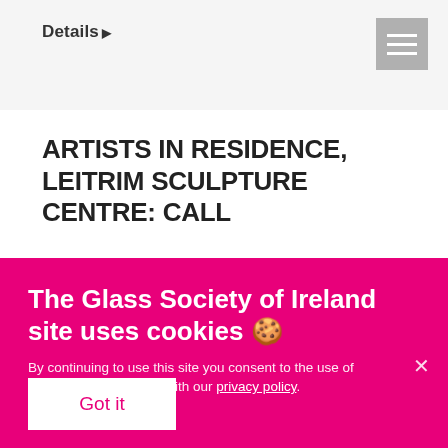Details ▶
ARTISTS IN RESIDENCE, LEITRIM SCULPTURE CENTRE: CALL
The Glass Society of Ireland site uses cookies 🍪
By continuing to use this site you consent to the use of cookies in accordance with our privacy policy.
Got it